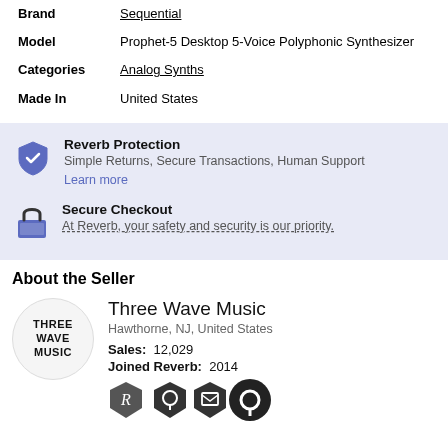| Brand | Sequential |
| Model | Prophet-5 Desktop 5-Voice Polyphonic Synthesizer |
| Categories | Analog Synths |
| Made In | United States |
Reverb Protection
Simple Returns, Secure Transactions, Human Support
Learn more
Secure Checkout
At Reverb, your safety and security is our priority.
About the Seller
Three Wave Music
Hawthorne, NJ, United States
Sales: 12,029
Joined Reverb: 2014